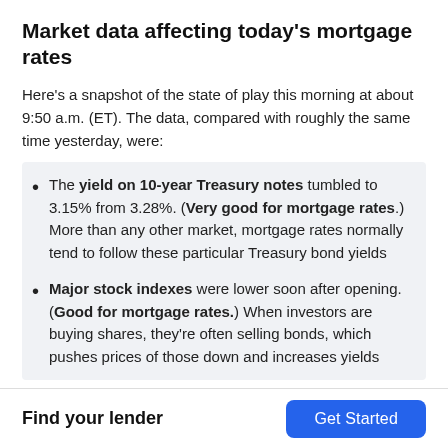Market data affecting today's mortgage rates
Here's a snapshot of the state of play this morning at about 9:50 a.m. (ET). The data, compared with roughly the same time yesterday, were:
The yield on 10-year Treasury notes tumbled to 3.15% from 3.28%. (Very good for mortgage rates.) More than any other market, mortgage rates normally tend to follow these particular Treasury bond yields
Major stock indexes were lower soon after opening. (Good for mortgage rates.) When investors are buying shares, they're often selling bonds, which pushes prices of those down and increases yields
Find your lender
Get Started